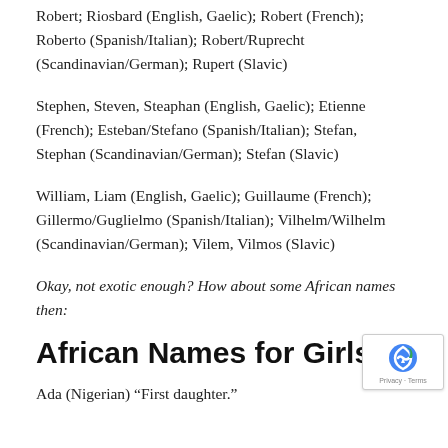Robert; Riosbard (English, Gaelic); Robert (French); Roberto (Spanish/Italian); Robert/Ruprecht (Scandinavian/German); Rupert (Slavic)
Stephen, Steven, Steaphan (English, Gaelic); Etienne (French); Esteban/Stefano (Spanish/Italian); Stefan, Stephan (Scandinavian/German); Stefan (Slavic)
William, Liam (English, Gaelic); Guillaume (French); Gillermo/Guglielmo (Spanish/Italian); Vilhelm/Wilhelm (Scandinavian/German); Vilem, Vilmos (Slavic)
Okay, not exotic enough? How about some African names then:
African Names for Girls
Ada (Nigerian) “First daughter.”